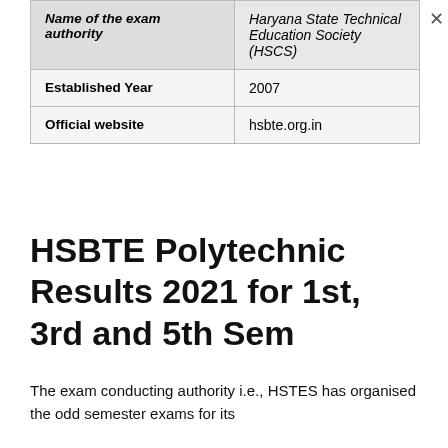| Name of the exam authority | Haryana State Technical Education Society (HSCS) |
| --- | --- |
| Established Year | 2007 |
| Official website | hsbte.org.in |
HSBTE Polytechnic Results 2021 for 1st, 3rd and 5th Sem
The exam conducting authority i.e., HSTES has organised the odd semester exams for its